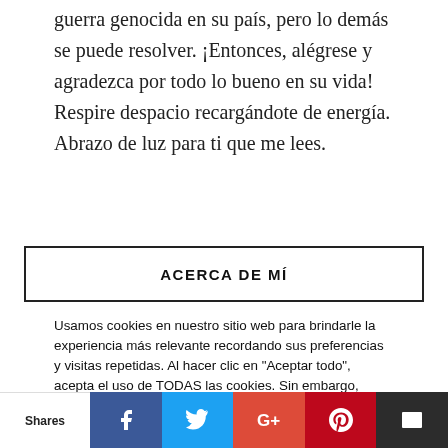guerra genocida en su país, pero lo demás se puede resolver. ¡Entonces, alégrese y agradezca por todo lo bueno en su vida! Respire despacio recargándote de energía. Abrazo de luz para ti que me lees.
ACERCA DE MÍ
Usamos cookies en nuestro sitio web para brindarle la experiencia más relevante recordando sus preferencias y visitas repetidas. Al hacer clic en "Aceptar todo", acepta el uso de TODAS las cookies. Sin embargo, puede visitar "Configuración de cookies" para proporcionar un consentimiento controlado.
No vender mi información personal.